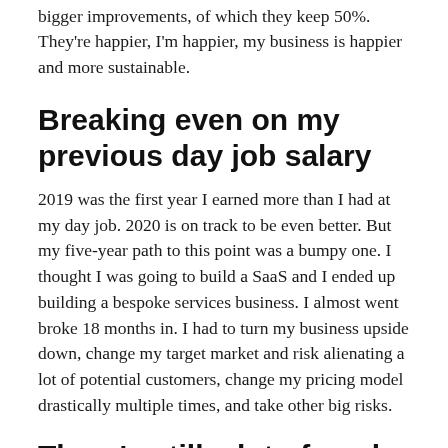bigger improvements, of which they keep 50%. They're happier, I'm happier, my business is happier and more sustainable.
Breaking even on my previous day job salary
2019 was the first year I earned more than I had at my day job. 2020 is on track to be even better. But my five-year path to this point was a bumpy one. I thought I was going to build a SaaS and I ended up building a bespoke services business. I almost went broke 18 months in. I had to turn my business upside down, change my target market and risk alienating a lot of potential customers, change my pricing model drastically multiple times, and take other big risks.
There's still a lot of work to do